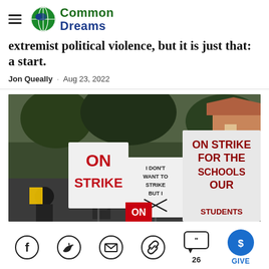Common Dreams
extremist political violence, but it is just that: a start.
Jon Queally · Aug 23, 2022
[Figure (photo): Protesters holding strike signs including 'ON STRIKE', 'I DON'T WANT TO STRIKE BUT I', and 'ON STRIKE FOR THE SCHOOLS OUR STUDENTS']
Social share icons: Facebook, Twitter, Email, Link, Comments (26), GIVE